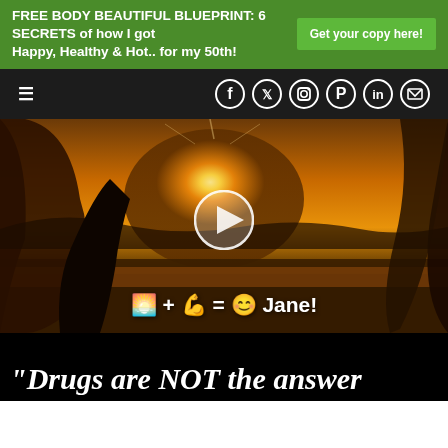FREE BODY BEAUTIFUL BLUEPRINT: 6 SECRETS of how I got Happy, Healthy & Hot.. for my 50th! Get your copy here!
[Figure (screenshot): Navigation bar with hamburger menu and social media icons (Facebook, Twitter, Instagram, Pinterest, LinkedIn, Email) on dark background]
[Figure (photo): Video thumbnail: silhouette of person flexing arm muscle at sunset/golden hour by water, with play button overlay and text emoji equation: sunset + muscle = smiley Jane!]
[Figure (photo): Black background strip with white italic bold text beginning: 'Drugs are NOT the answer']